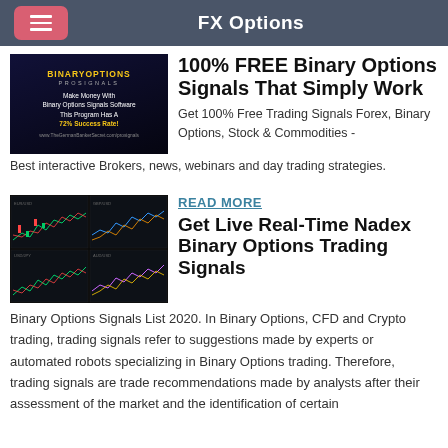FX Options
[Figure (photo): BinaryOptions Pro Signals advertisement: Make Money With Binary Options Signals Software This Program Has A 72% Success Rate! www.TheGermanBankerSecret.com/prosignals]
100% FREE Binary Options Signals That Simply Work
Get 100% Free Trading Signals Forex, Binary Options, Stock & Commodities - Best interactive Brokers, news, webinars and day trading strategies.
[Figure (screenshot): Screenshot of multiple trading chart windows showing candlestick and line charts in a dark-themed trading platform interface]
READ MORE
Get Live Real-Time Nadex Binary Options Trading Signals
Binary Options Signals List 2020. In Binary Options, CFD and Crypto trading, trading signals refer to suggestions made by experts or automated robots specializing in Binary Options trading. Therefore, trading signals are trade recommendations made by analysts after their assessment of the market and the identification of certain